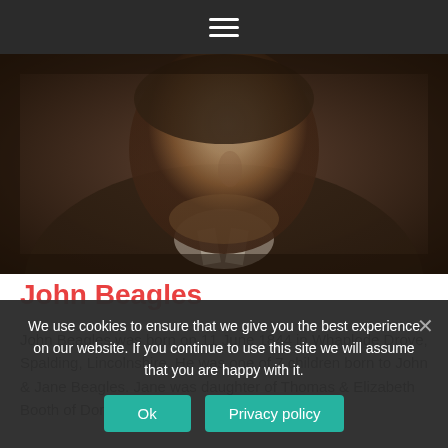☰ (hamburger menu icon)
[Figure (photo): Sepia-toned vintage portrait photograph of John Beagles, showing a man's face and shoulders cropped closely, dark clothing with white collar visible.]
John Beagles
John Beagles was born on 11 June 1844 in Whaplode Drove, Spalding, Lincolnshire. He was one of 7 children born to John & Jane Beagles. Jane was daughter of Thomas & Elizabeth Booth of Donington.
We use cookies to ensure that we give you the best experience on our website. If you continue to use this site we will assume that you are happy with it.